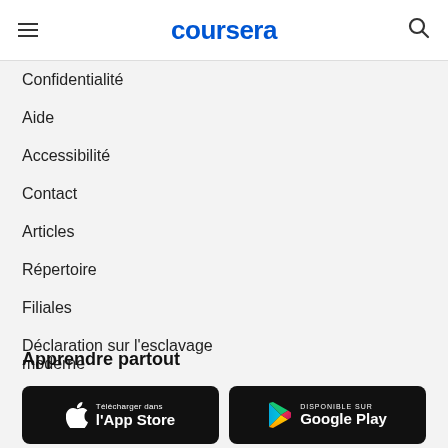coursera
Confidentialité
Aide
Accessibilité
Contact
Articles
Répertoire
Filiales
Déclaration sur l'esclavage moderne
Apprendre partout
[Figure (screenshot): App Store and Google Play download badges]
Télécharger dans l'App Store | DISPONIBLE SUR Google Play